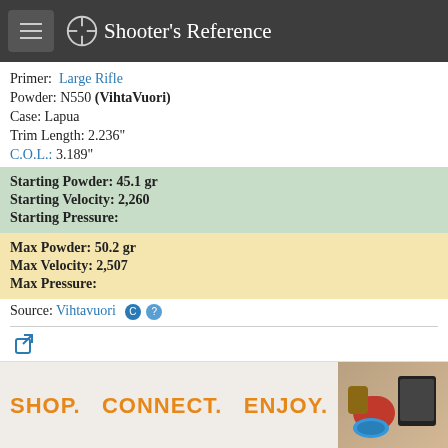Shooter's Reference
Primer: Large Rifle
Powder: N550 (VihtaVuori)
Case: Lapua
Trim Length: 2.236"
C.O.L.: 3.189"
Starting Powder: 45.1 gr
Starting Velocity: 2,260
Starting Pressure:
Max Powder: 50.2 gr
Max Velocity: 2,507
Max Pressure:
Source: Vihtavuori  C  ?
[Figure (other): Share icon (arrow box)]
[Figure (other): Advertisement banner: SHOP. CONNECT. ENJOY. with product images on right]
Privacy